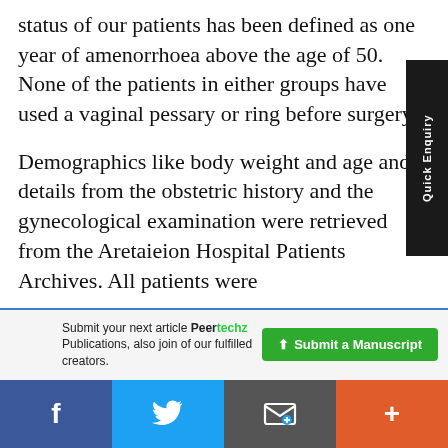status of our patients has been defined as one year of amenorrhoea above the age of 50. None of the patients in either groups have used a vaginal pessary or ring before surgery.
Demographics like body weight and age and details from the obstetric history and the gynecological examination were retrieved from the Aretaieion Hospital Patients Archives. All patients were
given a number so that their
[Figure (other): Quick Enquiry vertical sidebar tab on right edge]
[Figure (other): Peertechz advertisement bar with Submit a Manuscript button]
[Figure (other): Social sharing bar with Facebook, Twitter, Email, and Plus buttons]